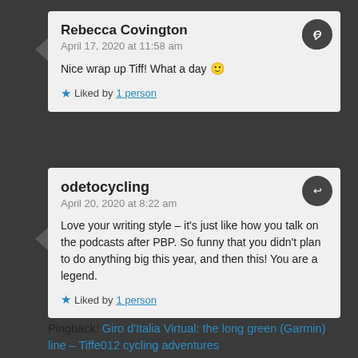Rebecca Covington
April 17, 2020 at 11:58 am

Nice wrap up Tiff! What a day 🙂

Liked by 1 person
odetocycling
April 20, 2020 at 8:22 am

Love your writing style – it's just like how you talk on the podcasts after PBP. So funny that you didn't plan to do anything big this year, and then this! You are a legend.

Liked by 1 person
Pingback: Giro d'Italia Virtual: the long green (Garmin) line – Tiffe012 cycling adventures